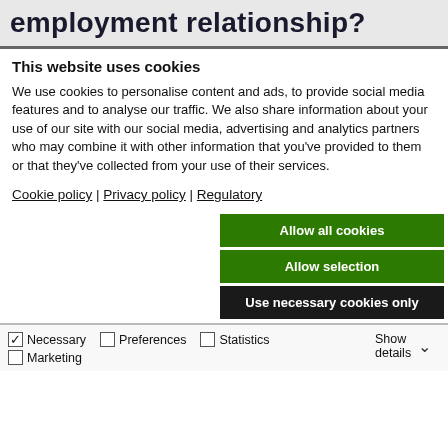employment relationship?
This website uses cookies
We use cookies to personalise content and ads, to provide social media features and to analyse our traffic. We also share information about your use of our site with our social media, advertising and analytics partners who may combine it with other information that you've provided to them or that they've collected from your use of their services.
Cookie policy | Privacy policy | Regulatory
Allow all cookies
Allow selection
Use necessary cookies only
Necessary  Preferences  Statistics  Marketing  Show details